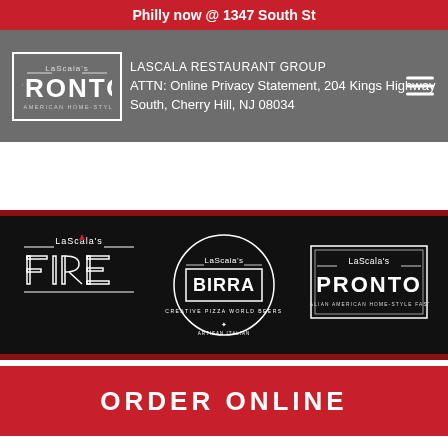Philly now @ 1347 South St
[Figure (logo): LaScala's Pronto logo in bordered box]
LASCALA RESTAURANT GROUP
ATTN: Online Privacy Statement, 204 Kings Highway South, Cherry Hill, NJ 08034
[Figure (logo): LaScala's Fire logo - white text on black background]
[Figure (logo): LaScala's Birra logo - creative pizza world beers artisan italian]
[Figure (logo): LaScala's Pronto logo - Italian American home-style fast!]
ORDER ONLINE